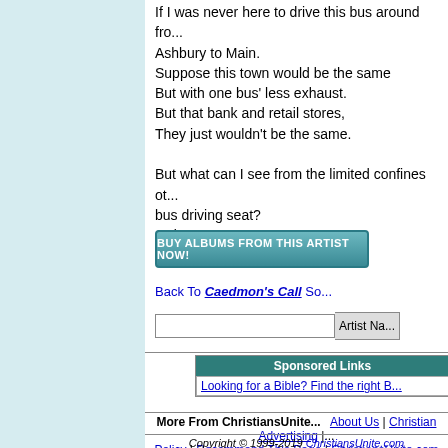If I was never here to drive this bus around fro... Ashbury to Main.
Suppose this town would be the same
But with one bus' less exhaust.
But that bank and retail stores,
They just wouldn't be the same.

But what can I see from the limited confines ot... bus driving seat?
Only me.
[Figure (other): Button: BUY ALBUMS FROM THIS ARTIST NOW!]
Back To Caedmon's Call So...
Artist Na... (search bar)
Sponsored Links
Looking for a Bible? Find the right B...
More From ChristiansUnite...   About Us | Christian Advertising | ...
Policy | Recommend This Page | ChristiansUnite.com Si...
Copyright © 1999-2019 ChristiansUnite.com
Please send your questions, comments, or bug re...